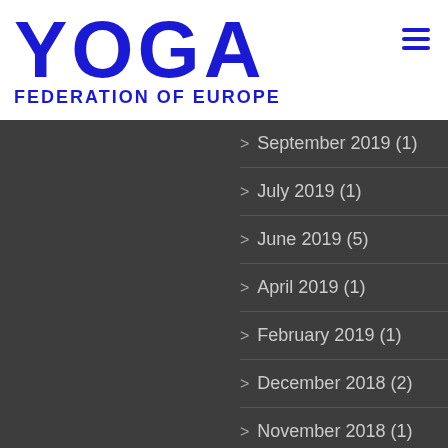[Figure (logo): Yoga Federation of Europe logo — large blue bold text 'YOGA' with 'FEDERATION OF EUROPE' below]
[Figure (other): Hamburger menu icon — three horizontal blue lines]
> September 2019 (1)
> July 2019 (1)
> June 2019 (5)
> April 2019 (1)
> February 2019 (1)
> December 2018 (2)
> November 2018 (1)